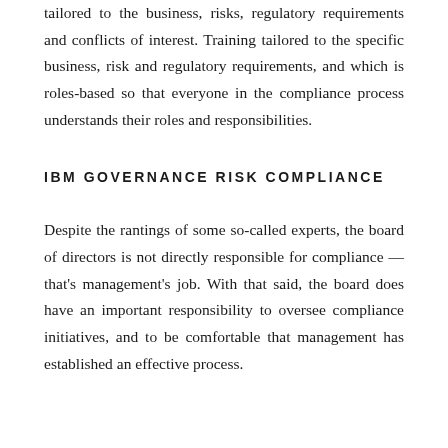tailored to the business, risks, regulatory requirements and conflicts of interest. Training tailored to the specific business, risk and regulatory requirements, and which is roles-based so that everyone in the compliance process understands their roles and responsibilities.
IBM GOVERNANCE RISK COMPLIANCE
Despite the rantings of some so-called experts, the board of directors is not directly responsible for compliance — that's management's job. With that said, the board does have an important responsibility to oversee compliance initiatives, and to be comfortable that management has established an effective process.